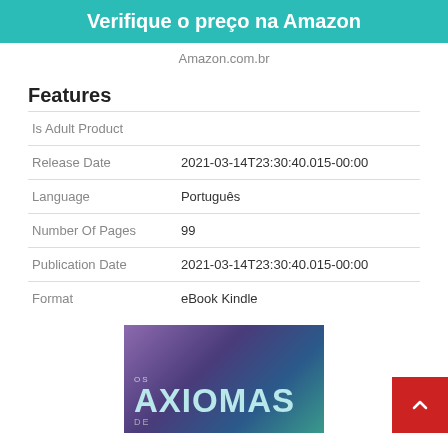Verifique o preço na Amazon
Amazon.com.br
Features
| Is Adult Product |  |
| Release Date | 2021-03-14T23:30:40.015-00:00 |
| Language | Português |
| Number Of Pages | 99 |
| Publication Date | 2021-03-14T23:30:40.015-00:00 |
| Format | eBook Kindle |
[Figure (photo): Book cover showing 'OS AXIOMAS DE' text on a colorful abstract background]
[Figure (other): Red scroll-to-top button with upward chevron arrow]